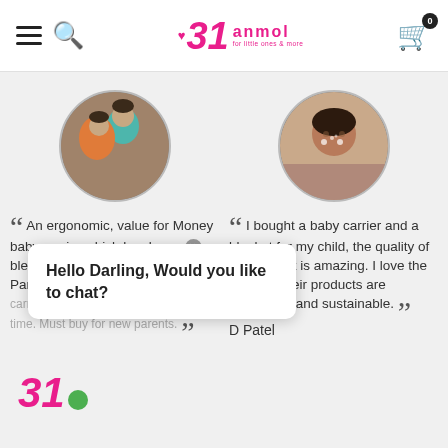anmol — navigation header with hamburger menu, search icon, anmol logo, and cart icon with badge 0
[Figure (photo): Circular avatar photo of a couple — a man in teal shirt and a woman in orange saree]
[Figure (photo): Circular avatar photo of a young woman/girl with sparkle filter on face]
An ergonomic, value for Money baby carrier which has been a blessing for us second time Parents. ...carrier that he goes on to sleep in no time. Must buy for new parents.
I bought a baby carrier and a blanket for my child, the quality of the product is amazing. I love the fact that their products are ergonomic and sustainable.
D Patel
Hello Darling, Would you like to chat?